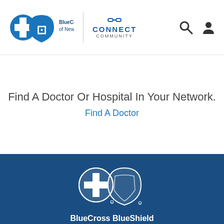BlueCross BlueShield of New Mexico | CONNECT COMMUNITY
Find A Doctor Or Hospital In Your Network.
Find A Doctor
[Figure (logo): BlueCross BlueShield of New Mexico white logo on dark blue background with Facebook, Twitter, and YouTube social media icons below]